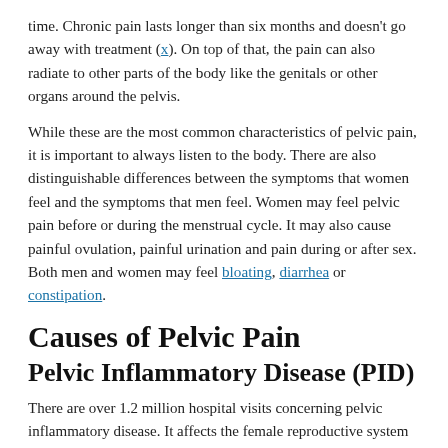time. Chronic pain lasts longer than six months and doesn't go away with treatment (x). On top of that, the pain can also radiate to other parts of the body like the genitals or other organs around the pelvis.
While these are the most common characteristics of pelvic pain, it is important to always listen to the body. There are also distinguishable differences between the symptoms that women feel and the symptoms that men feel. Women may feel pelvic pain before or during the menstrual cycle. It may also cause painful ovulation, painful urination and pain during or after sex. Both men and women may feel bloating, diarrhea or constipation.
Causes of Pelvic Pain
Pelvic Inflammatory Disease (PID)
There are over 1.2 million hospital visits concerning pelvic inflammatory disease. It affects the female reproductive system by causing infection and inflammation in the upper genital tract—the Fallopian tubes, uterus and ovaries. PID can cause damage to these major reproductive organs and lead to serious consequences